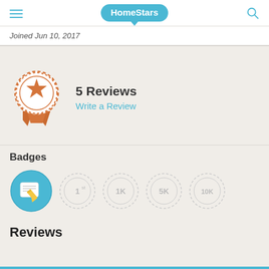HomeStars
Joined Jun 10, 2017
[Figure (illustration): Award ribbon/medal icon with orange star in center and orange ribbon tails at bottom, decorative dotted border]
5 Reviews
Write a Review
Badges
[Figure (illustration): Row of badge icons: an active blue badge with pencil/writing icon, and four greyed-out badges labeled 1st, 1K, 5K, 10K]
Reviews